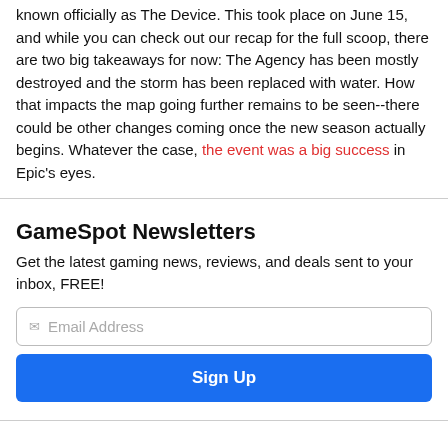known officially as The Device. This took place on June 15, and while you can check out our recap for the full scoop, there are two big takeaways for now: The Agency has been mostly destroyed and the storm has been replaced with water. How that impacts the map going further remains to be seen--there could be other changes coming once the new season actually begins. Whatever the case, the event was a big success in Epic's eyes.
GameSpot Newsletters
Get the latest gaming news, reviews, and deals sent to your inbox, FREE!
Some players are making their own fun--such as devising makeshift drones that they're flying around to land kills or just mess around.